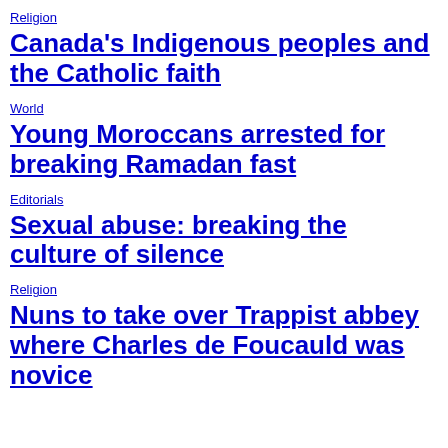Religion
Canada's Indigenous peoples and the Catholic faith
World
Young Moroccans arrested for breaking Ramadan fast
Editorials
Sexual abuse: breaking the culture of silence
Religion
Nuns to take over Trappist abbey where Charles de Foucauld was novice